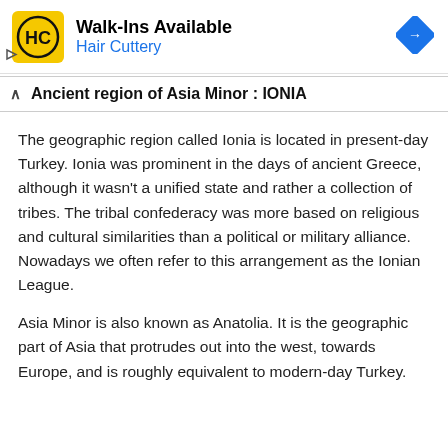[Figure (logo): Hair Cuttery advertisement banner with HC logo in yellow square, Walk-Ins Available heading, Hair Cuttery subtext in blue, and a blue diamond navigation icon]
Ancient region of Asia Minor : IONIA
The geographic region called Ionia is located in present-day Turkey. Ionia was prominent in the days of ancient Greece, although it wasn’t a unified state and rather a collection of tribes. The tribal confederacy was more based on religious and cultural similarities than a political or military alliance. Nowadays we often refer to this arrangement as the Ionian League.
Asia Minor is also known as Anatolia. It is the geographic part of Asia that protrudes out into the west, towards Europe, and is roughly equivalent to modern-day Turkey.